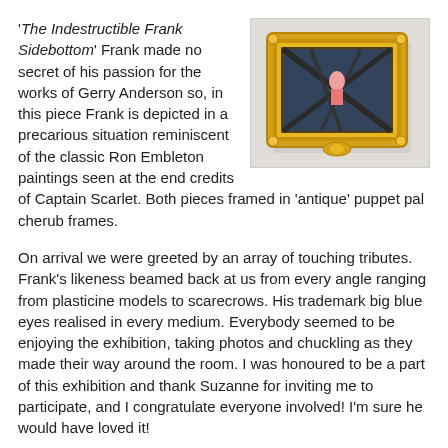'The Indestructible Frank Sidebottom' Frank made no secret of his passion for the works of Gerry Anderson so, in this piece Frank is depicted in a precarious situation reminiscent of the classic Ron Embleton paintings seen at the end credits of Captain Scarlet. Both pieces framed in 'antique' puppet pal cherub frames.
[Figure (photo): A painting displayed in a decorative yellow/gold ornate cherub frame, hung on a white wall. The painting appears to show a figure in a precarious or dynamic situation against a dark background, reminiscent of classic action painting style.]
On arrival we were greeted by an array of touching tributes. Frank's likeness beamed back at us from every angle ranging from plasticine models to scarecrows. His trademark big blue eyes realised in every medium. Everybody seemed to be enjoying the exhibition, taking photos and chuckling as they made their way around the room. I was honoured to be a part of this exhibition and thank Suzanne for inviting me to participate, and I congratulate everyone involved! I'm sure he would have loved it!